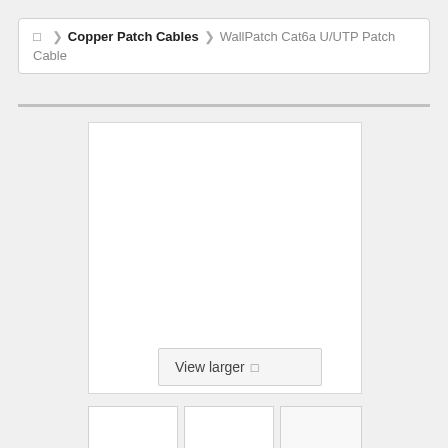Home > Copper Patch Cables > WallPatch Cat6a U/UTP Patch Cable
[Figure (photo): Product image area (white box) for WallPatch Cat6a U/UTP Patch Cable with a 'View larger' button overlay and three thumbnail image boxes at the bottom]